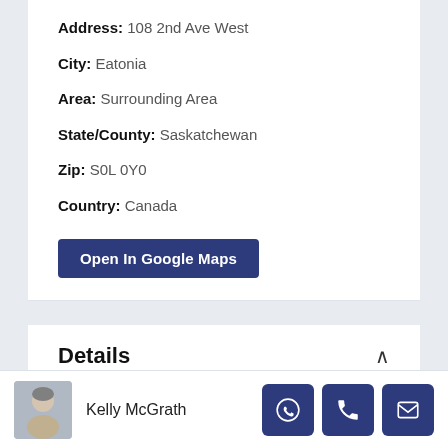Address: 108 2nd Ave West
City: Eatonia
Area: Surrounding Area
State/County: Saskatchewan
Zip: S0L 0Y0
Country: Canada
Open In Google Maps
Details
Price: Price Reduced! $ 99,000
Kelly McGrath